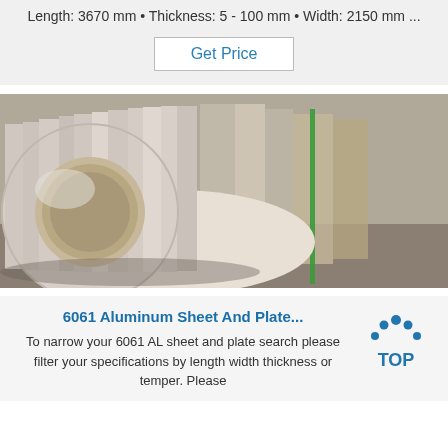Length: 3670 mm • Thickness: 5 - 100 mm • Width: 2150 mm ...
Get Price
[Figure (photo): A roll of shiny aluminum sheet/coil, metallic silver surface, with additional aluminum rolls visible in the background secured with green strapping.]
6061 Aluminum Sheet And Plate...
To narrow your 6061 AL sheet and plate search please filter your specifications by length width thickness or temper. Please